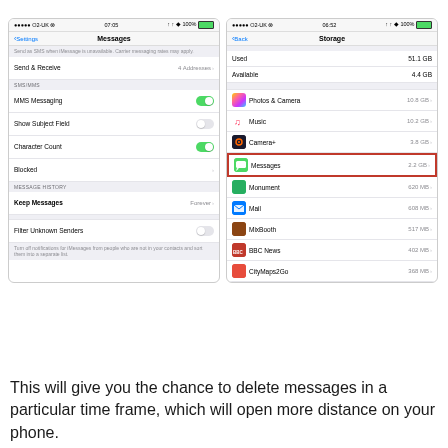[Figure (screenshot): Two iOS screenshots side by side. Left shows Messages settings with MMS Messaging toggle on, Show Subject Field off, Character Count on, Blocked option, MESSAGE HISTORY section with Keep Messages set to Forever, Filter Unknown Senders toggle off. Right shows Storage settings with Used 51.1 GB, Available 4.4 GB, and app list: Photos & Camera 10.8 GB, Music 10.2 GB, Camera+ 3.8 GB, Messages 2.2 GB (highlighted with red border), Monument 620 MB, Mail 608 MB, MixBooth 517 MB, BBC News 402 MB, CityMaps2Go 368 MB.]
This will give you the chance to delete messages in a particular time frame, which will open more distance on your phone.